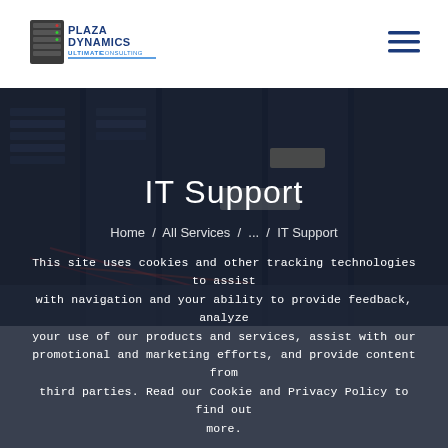[Figure (logo): Plaza Dynamics Ultimate Consulting logo with server rack graphic and blue text]
[Figure (illustration): Hamburger menu icon with three horizontal blue lines]
IT Support
Home / All Services / ... / IT Support
This site uses cookies and other tracking technologies to assist with navigation and your ability to provide feedback, analyze your use of our products and services, assist with our promotional and marketing efforts, and provide content from third parties. Read our Cookie and Privacy Policy to find out more.
Got It   Privacy policy